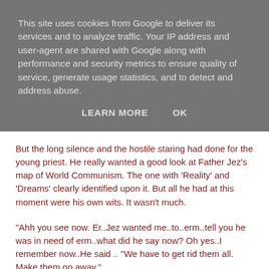This site uses cookies from Google to deliver its services and to analyze traffic. Your IP address and user-agent are shared with Google along with performance and security metrics to ensure quality of service, generate usage statistics, and to detect and address abuse.
LEARN MORE    OK
But the long silence and the hostile staring had done for the young priest. He really wanted a good look at Father Jez's map of World Communism. The one with 'Reality' and 'Dreams' clearly identified upon it. But all he had at this moment were his own wits. It wasn't much.
"Ahh you see now. Er..Jez wanted me..to..erm..tell you he was in need of erm..what did he say now? Oh yes..I remember now..He said .. "We have to get rid them all. Make them go away."
He smiled broadly as he remembered what he had just been told.